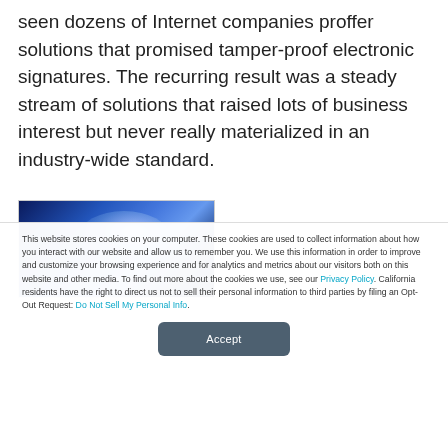seen dozens of Internet companies proffer solutions that promised tamper-proof electronic signatures. The recurring result was a steady stream of solutions that raised lots of business interest but never really materialized in an industry-wide standard.
[Figure (photo): A photograph showing a close-up of a hand with blue-toned lighting, abstract/technological appearance]
This website stores cookies on your computer. These cookies are used to collect information about how you interact with our website and allow us to remember you. We use this information in order to improve and customize your browsing experience and for analytics and metrics about our visitors both on this website and other media. To find out more about the cookies we use, see our Privacy Policy. California residents have the right to direct us not to sell their personal information to third parties by filing an Opt-Out Request: Do Not Sell My Personal Info.